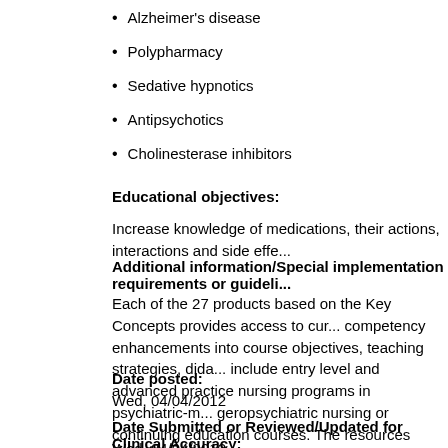Alzheimer's disease
Polypharmacy
Sedative hypnotics
Antipsychotics
Cholinesterase inhibitors
Educational objectives:
Increase knowledge of medications, their actions, interactions and side effe...
Additional information/Special implementation requirements or guideli...
Each of the 27 products based on the Key Concepts provides access to cur... competency enhancements into course objectives, teaching strategies, dida... include entry level and advanced practice nursing programs in psychiatric-m... geropsychiatric nursing or continuing education courses. The resources may... resource has been identified as appropriate to teaching the Key Concept an...
Date posted:
Wed, 04/04/2012
Date Submitted or Reviewed/Updated for Clinical Accuracy:
Wed, 04/04/2012